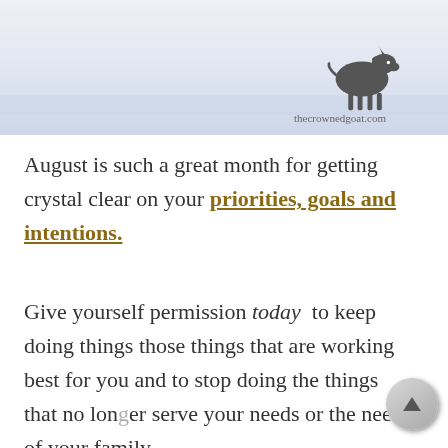[Figure (illustration): Header banner with light blue/lavender background and a dark silhouette of a goat in the lower right, with text 'thecrownedgoat.com' beneath the goat.]
August is such a great month for getting crystal clear on your priorities, goals and intentions.
Give yourself permission today to keep doing things those things that are working best for you and to stop doing the things that no longer serve your needs or the needs of your family